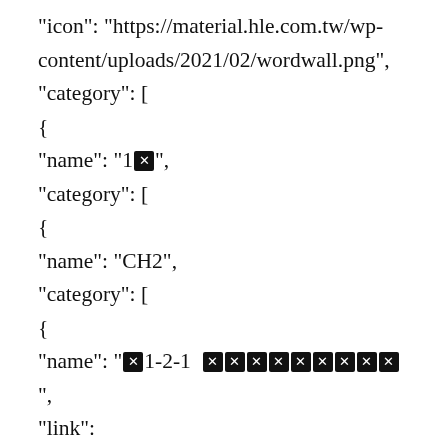"icon": "https://material.hle.com.tw/wp-content/uploads/2021/02/wordwall.png",
"category": [
{
"name": "1[redacted]",
"category": [
{
"name": "CH2",
"category": [
{
"name": "[redacted]1-2-1 [redacted][redacted][redacted][redacted][redacted][redacted][redacted][redacted][redacted]",
"link":
"https://wordwall.net/resource/20001339"
},
{
"name": "[redacted]1-2-2 [redacted][redacted][redacted][redacted][redacted][redacted][redacted][redacted][redacted]",